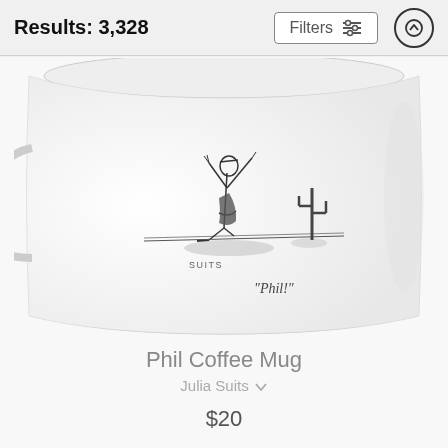Results: 3,328
Filters
[Figure (photo): A white coffee mug featuring a cartoon drawing of a person walking a tightrope in a desert with a cactus, signed 'suits' and captioned 'Phil!' — the Phil Coffee Mug by Julia Suits]
Phil Coffee Mug
Julia Suits
$20